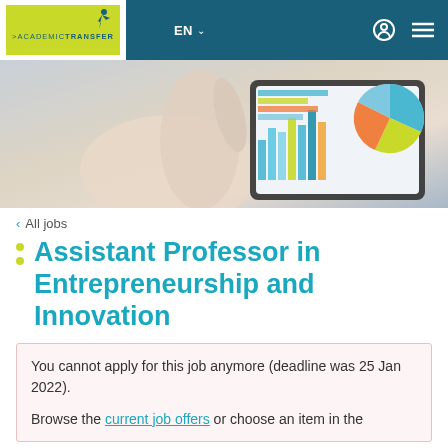EN — Academic Transfer website navigation header
[Figure (photo): Close-up of a hand pointing at a tablet screen showing colorful bar charts and pie charts — a business/analytics data visualization photo]
< All jobs
Assistant Professor in Entrepreneurship and Innovation
You cannot apply for this job anymore (deadline was 25 Jan 2022).
Browse the current job offers or choose an item in the